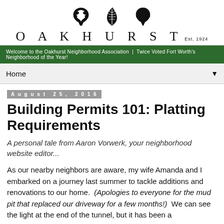[Figure (logo): Oakhurst neighborhood association logo with three oak leaf silhouettes and the word OAKHURST Est. 1924]
Welcome to the Oakhurst Neighborhood Association | Twice Voted Fort Worth's Neighborhood of the Year!
Home
August 25, 2016
Building Permits 101: Platting Requirements
A personal tale from Aaron Vorwerk, your neighborhood website editor...
As our nearby neighbors are aware, my wife Amanda and I embarked on a journey last summer to tackle additions and renovations to our home. (Apologies to everyone for the mud pit that replaced our driveway for a few months!) We can see the light at the end of the tunnel, but it has been a